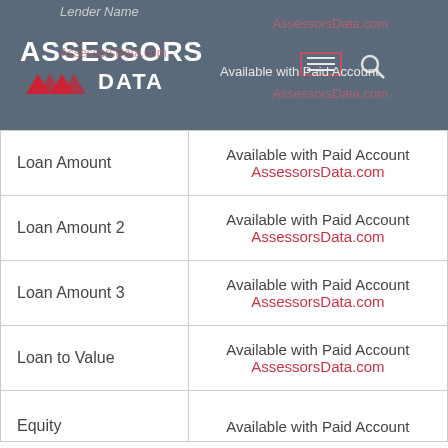Lender Name | Available with Paid Account | AssessorsData.com
[Figure (logo): AssessorsData logo with red triangles on dark blue-grey header background, with navigation menu and search icons]
| Field | Value |
| --- | --- |
| Loan Amount | Available with Paid Account
AssessorsData.com |
| Loan Amount 2 | Available with Paid Account
AssessorsData.com |
| Loan Amount 3 | Available with Paid Account
AssessorsData.com |
| Loan to Value | Available with Paid Account
AssessorsData.com |
| Equity | Available with Paid Account |